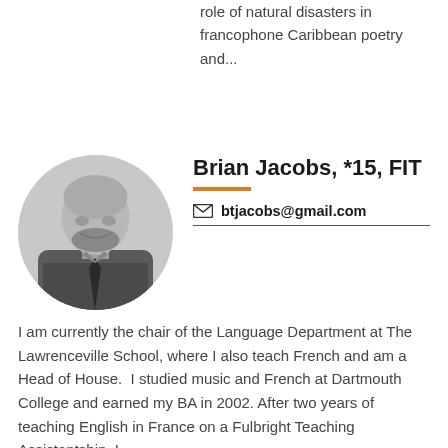role of natural disasters in francophone Caribbean poetry and...
[Figure (photo): Black and white circular portrait photo of Brian Jacobs, a bald man with a beard, smiling, wearing a patterned shirt and dark tie.]
Brian Jacobs, *15, FIT
btjacobs@gmail.com
I am currently the chair of the Language Department at The Lawrenceville School, where I also teach French and am a Head of House.  I studied music and French at Dartmouth College and earned my BA in 2002. After two years of teaching English in France on a Fulbright Teaching Assistantship, I